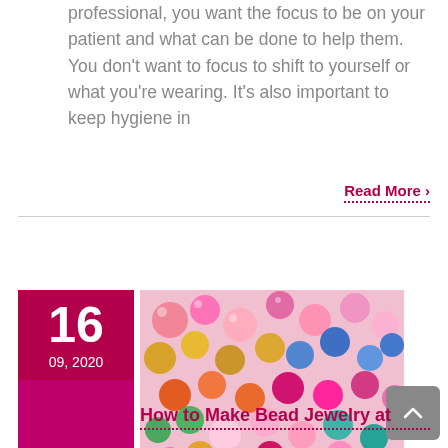professional, you want the focus to be on your patient and what can be done to help them. You don't want to focus to shift to yourself or what you're wearing. It's also important to keep hygiene in
Read More >
[Figure (photo): Close-up photograph of many colorful pearl/bead jewelry pieces in various colors including pink, gold, blue, orange, and green]
How to Make Bead Jewelry at